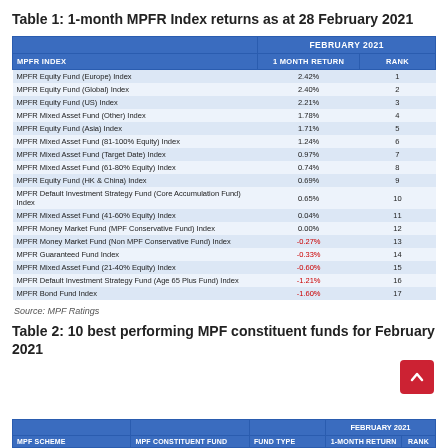Table 1: 1-month MPFR Index returns as at 28 February 2021
| MPFR INDEX | 1 MONTH RETURN | RANK |
| --- | --- | --- |
| MPFR Equity Fund (Europe) Index | 2.42% | 1 |
| MPFR Equity Fund (Global) Index | 2.40% | 2 |
| MPFR Equity Fund (US) Index | 2.21% | 3 |
| MPFR Mixed Asset Fund (Other) Index | 1.78% | 4 |
| MPFR Equity Fund (Asia) Index | 1.71% | 5 |
| MPFR Mixed Asset Fund (81-100% Equity) Index | 1.24% | 6 |
| MPFR Mixed Asset Fund (Target Date) Index | 0.97% | 7 |
| MPFR Mixed Asset Fund (61-80% Equity) Index | 0.74% | 8 |
| MPFR Equity Fund (HK & China) Index | 0.69% | 9 |
| MPFR Default Investment Strategy Fund (Core Accumulation Fund) Index | 0.65% | 10 |
| MPFR Mixed Asset Fund (41-60% Equity) Index | 0.04% | 11 |
| MPFR Money Market Fund (MPF Conservative Fund) Index | 0.00% | 12 |
| MPFR Money Market Fund (Non MPF Conservative Fund) Index | -0.27% | 13 |
| MPFR Guaranteed Fund Index | -0.33% | 14 |
| MPFR Mixed Asset Fund (21-40% Equity) Index | -0.60% | 15 |
| MPFR Default Investment Strategy Fund (Age 65 Plus Fund) Index | -1.21% | 16 |
| MPFR Bond Fund Index | -1.60% | 17 |
Source: MPF Ratings
Table 2: 10 best performing MPF constituent funds for February 2021
| MPF SCHEME | MPF CONSTITUENT FUND | FUND TYPE | 1-MONTH RETURN | RANK |
| --- | --- | --- | --- | --- |